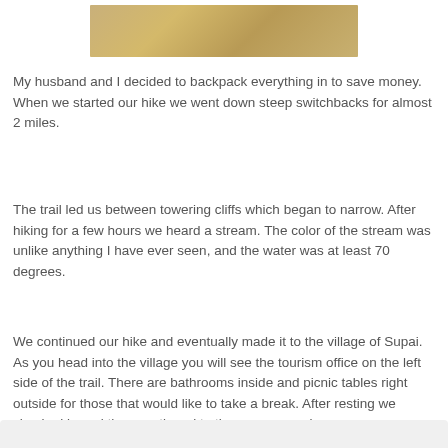[Figure (photo): Partial view of a photo at the top of the page showing a sandy/rocky terrain, cropped at the top edge.]
My husband and I decided to backpack everything in to save money. When we started our hike we went down steep switchbacks for almost 2 miles.
The trail led us between towering cliffs which began to narrow. After hiking for a few hours we heard a stream. The color of the stream was unlike anything I have ever seen, and the water was at least 70 degrees.
We continued our hike and eventually made it to the village of Supai. As you head into the village you will see the tourism office on the left side of the trail. There are bathrooms inside and picnic tables right outside for those that would like to take a break. After resting we checked in and then continued to the campground.